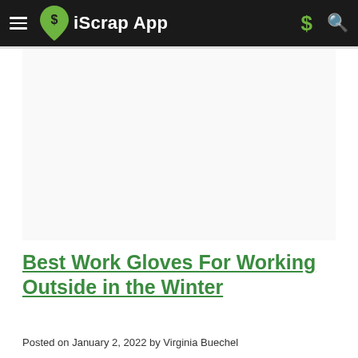iScrap App
[Figure (other): Advertisement placeholder area (blank white/light gray box)]
Best Work Gloves For Working Outside in the Winter
Posted on January 2, 2022 by Virginia Buechel
[Figure (photo): Thumbnail photo of work gloves]
We have had some cold